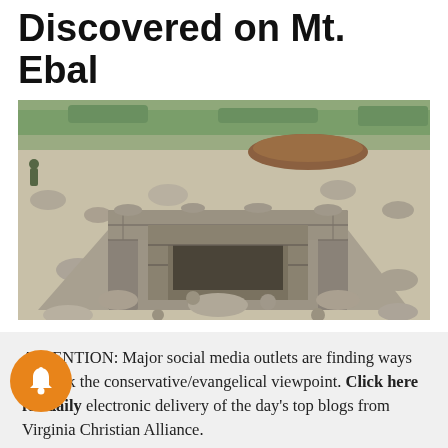Discovered on Mt. Ebal
[Figure (photo): Aerial/elevated view of ancient stone ruins on Mt. Ebal — a rectangular stone structure made of stacked rocks, surrounded by rocky terrain with sparse green grass in the background]
ATTENTION: Major social media outlets are finding ways to block the conservative/evangelical viewpoint. Click here for daily electronic delivery of the day's top blogs from Virginia Christian Alliance.